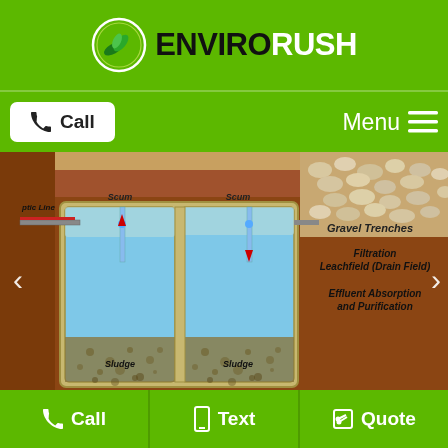ENVIRORUSH
[Figure (logo): EnviroRush logo with circular leaf icon and company name]
[Figure (schematic): Septic system diagram showing two-chamber septic tank with Scum layer, Sludge layer, Septic Tank label, Gravel Trenches, Filtration Leachfield (Drain Field), Effluent Absorption and Purification, and Septic Line labels]
How Does Your Septic System Actually Work?
Call   Text   Quote